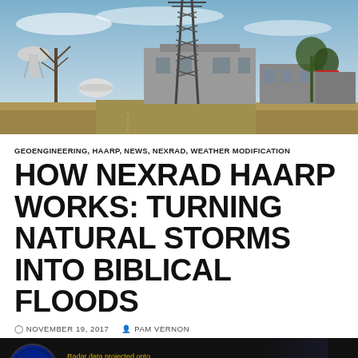[Figure (photo): Outdoor photo of a weather radar station or industrial facility with a large metal transmission tower, grey building, bare trees, water tower in background, under a blue sky with thin clouds.]
GEOENGINEERING, HAARP, NEWS, NEXRAD, WEATHER MODIFICATION
HOW NEXRAD HAARP WORKS: TURNING NATURAL STORMS INTO BIBLICAL FLOODS
NOVEMBER 19, 2017  PAM VERNON
[Figure (screenshot): Video thumbnail showing '101' logo on left, with text 'Radar data projected onto' and title 'How Nexrad HAARP Works: Turning ...' on dark background with menu dots on right.]